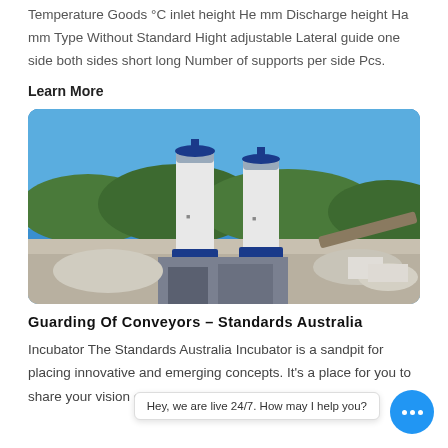Temperature Goods °C inlet height He mm Discharge height Ha mm Type Without Standard Hight adjustable Lateral guide one side both sides short long Number of supports per side Pcs.
Learn More
[Figure (photo): Outdoor industrial site with two tall white cylindrical silos with blue tops against a clear blue sky, surrounded by quarry/concrete materials and trees in background.]
Guarding Of Conveyors - Standards Australia
Incubator The Standards Australia Incubator is a sandpit for placing innovative and emerging concepts. It's a place for you to share your vision of how standards could be better...